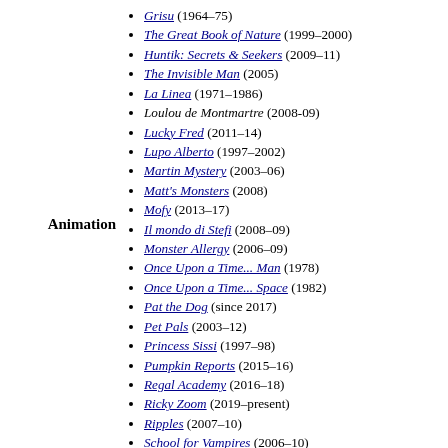Animation
Grisu (1964–75)
The Great Book of Nature (1999–2000)
Huntik: Secrets & Seekers (2009–11)
The Invisible Man (2005)
La Linea (1971–1986)
Loulou de Montmartre (2008-09)
Lucky Fred (2011–14)
Lupo Alberto (1997–2002)
Martin Mystery (2003–06)
Matt's Monsters (2008)
Mofy (2013–17)
Il mondo di Stefi (2008–09)
Monster Allergy (2006–09)
Once Upon a Time... Man (1978)
Once Upon a Time... Space (1982)
Pat the Dog (since 2017)
Pet Pals (2003–12)
Princess Sissi (1997–98)
Pumpkin Reports (2015–16)
Regal Academy (2016–18)
Ricky Zoom (2019–present)
Ripples (2007–10)
School for Vampires (2006–10)
Sherlock Hound (1984–85)
Soccer Fever (1994–95)